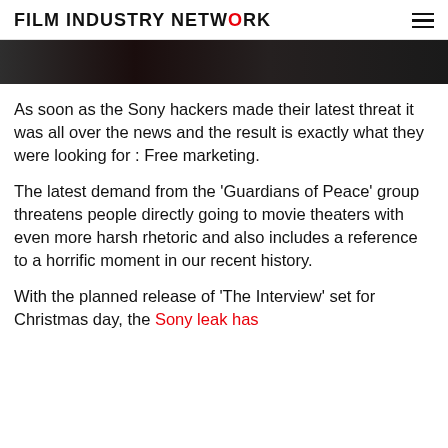FILM INDUSTRY NETWORK
[Figure (photo): Partial view of a dark photograph, likely a still or promotional image related to a film, showing dark tones.]
As soon as the Sony hackers made their latest threat it was all over the news and the result is exactly what they were looking for : Free marketing.
The latest demand from the 'Guardians of Peace' group threatens people directly going to movie theaters with even more harsh rhetoric and also includes a reference to a horrific moment in our recent history.
With the planned release of 'The Interview' set for Christmas day, the Sony leak has